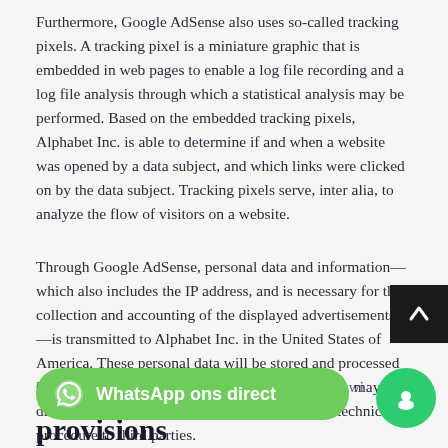Furthermore, Google AdSense also uses so-called tracking pixels. A tracking pixel is a miniature graphic that is embedded in web pages to enable a log file recording and a log file analysis through which a statistical analysis may be performed. Based on the embedded tracking pixels, Alphabet Inc. is able to determine if and when a website was opened by a data subject, and which links were clicked on by the data subject. Tracking pixels serve, inter alia, to analyze the flow of visitors on a website.
Through Google AdSense, personal data and information—which also includes the IP address, and is necessary for the collection and accounting of the displayed advertisements—is transmitted to Alphabet Inc. in the United States of America. These personal data will be stored and processed in the United States of America. The Alphabet Inc. may disclose the collected personal data through this technical procedure to third parties.
Google AdSense is further explained under the following link https://www.google.com/adsense/start/.
11. Data protection provisions